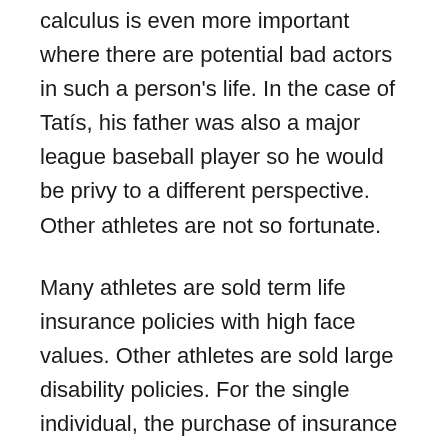calculus is even more important where there are potential bad actors in such a person's life. In the case of Tatís, his father was also a major league baseball player so he would be privy to a different perspective. Other athletes are not so fortunate.
Many athletes are sold term life insurance policies with high face values. Other athletes are sold large disability policies. For the single individual, the purchase of insurance should be scrutinized by credentialed professionals. Although younger single individuals, such as Tatís, may never be easier to insure and the insurance may